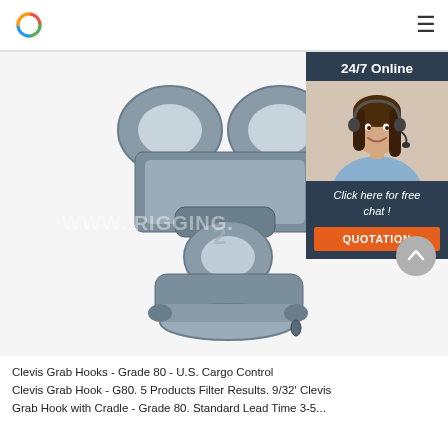Logo | Navigation hamburger menu
[Figure (photo): Close-up photo of a galvanized steel Clevis Grab Hook, Grade 80, showing the double-looped clevis connector with pin, on a white background. Watermark text 'www.[domain].com' overlaid on image. Overlay panel on right shows '24/7 Online' with a smiling female customer service representative wearing a headset, and a 'Click here for free chat!' call-to-action with an orange QUOTATION button.]
Clevis Grab Hooks - Grade 80 - U.S. Cargo Control
Clevis Grab Hook - G80. 5 Products Filter Results. 9/32' Clevis Grab Hook with Cradle - Grade 80. Standard Lead Time 3-5...